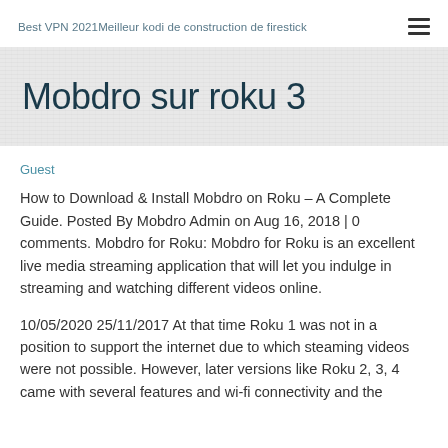Best VPN 2021Meilleur kodi de construction de firestick
Mobdro sur roku 3
Guest
How to Download & Install Mobdro on Roku – A Complete Guide. Posted By Mobdro Admin on Aug 16, 2018 | 0 comments. Mobdro for Roku: Mobdro for Roku is an excellent live media streaming application that will let you indulge in streaming and watching different videos online.
10/05/2020 25/11/2017 At that time Roku 1 was not in a position to support the internet due to which steaming videos were not possible. However, later versions like Roku 2, 3, 4 came with several features and wi-fi connectivity and the